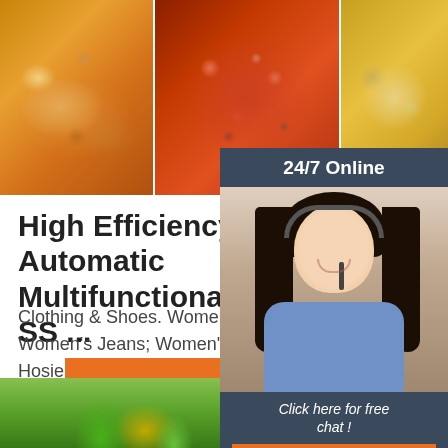[Figure (photo): Three food photos side by side: roasted chicken on left, pizza with toppings in center, small pastry/quiche on right]
[Figure (photo): Customer service sidebar with '24/7 Online' header, female agent with headset, 'Click here for free chat!' text, and orange QUOTATION button]
High Efficiency Automatic Multifunctional Electric SS ...
Clothing & Shoes. Women's Clothing. Dresses; Women's Jeans; Women's T Pants; Women's Hosiery
[Figure (other): Orange 'Get Price' button]
[Figure (logo): TOP logo with orange dots arranged in triangle above text 'TOP' in orange]
[Figure (photo): Bottom food/vegetable image partially visible]